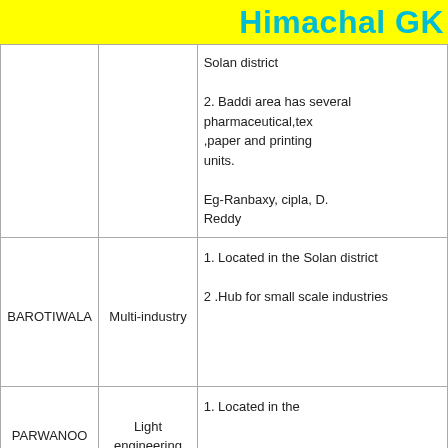Himachal GK
| Location | Type | Details |
| --- | --- | --- |
|  |  | Solan district

2. Baddi area has several pharmaceutical,text,paper and printing units.

Eg-Ranbaxy, cipla, D. Reddy |
| BAROTIWALA | Multi-industry | 1. Located in the Solan district

2 .Hub for small scale industries |
| PARWANOO | Light engineering | 1. Located in the |